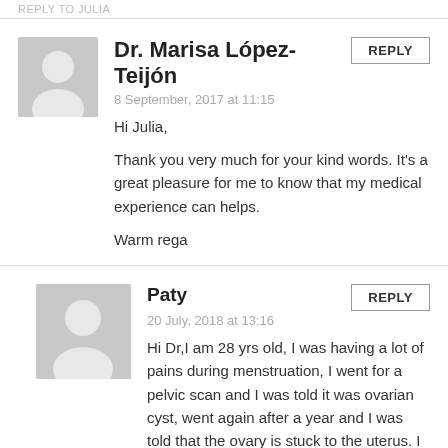REPLY TO JULIA
Dr. Marisa López-Teijón
8 September, 2017 at 11:15
Hi Julia,

Thank you very much for your kind words. It's a great pleasure for me to know that my medical experience can helps.

Warm rega
Paty
20 July, 2018 at 13:16
Hi Dr,I am 28 yrs old, I was having a lot of pains during menstruation, I went for a pelvic scan and I was told it was ovarian cyst, went again after a year and I was told that the ovary is stuck to the uterus. I have regular menstrual period . can this affect my fertility or chances of ovulating,pls